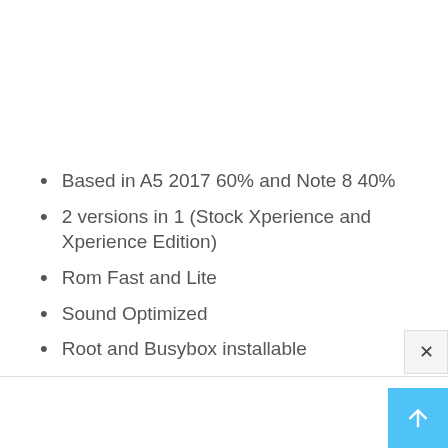Based in A5 2017 60% and Note 8 40%
2 versions in 1 (Stock Xperience and Xperience Edition)
Rom Fast and Lite
Sound Optimized
Root and Busybox installable